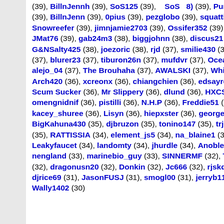(39), BillnJennh (39), SoS125 (39), __SoS__8) (39), Punkbutt (39), Yosagi (39), BillnJenn (39), 0pius (39), pezglobo (39), squatting bird (39), Snowreefer (39), jimnjamie2703 (39), Ossifer352 (39), newbieruss (39), JMat76 (39), gab24m3 (38), biggjohnn (38), discus21 (38), copster (38), G&NSalty425 (38), joezoric (38), rjd (37), smilie430 (37), SnowboardKid26 (37), blurer23 (37), tiburon26n (37), mufdvr (37), Ocean Secrets (37), alejo_04 (37), The Brouhaha (37), AWALSKI (37), WhiskyTango (37), Arch420 (36), xcreonx (36), chiangchien (36), edsayre (36), yfd888 (36), Scum Sucker (36), Mr Slippery (36), dlund (36), HXCShane (36), omengnidnif (36), pistilli (36), N.H.P (36), Freddie51 (36), temperhead (36), kacey_shuree (36), Lisyn (36), hiepxster (36), george6767 (35), BigKahuna430 (35), djbruzon (35), tonino147 (35), trjosu (35), ashleyj430 (35), RATTISSIA (34), element_js5 (34), na_blaine1 (34), ntec (34), Leakyfaucet (34), landomty (34), jhurdle (34), Anoble (33), neil.hawke (33), nengland (33), marinebio_guy (33), SINNERMF (32), Tualatin (32), simoneau (32), dragonusn20 (32), Donkin (32), Jc666 (32), rjskds3 (32), specter (31), djrice69 (31), JasonFUSJ (31), smogl00 (31), jerryb111 (30), thanew (30), Wally1402 (30)